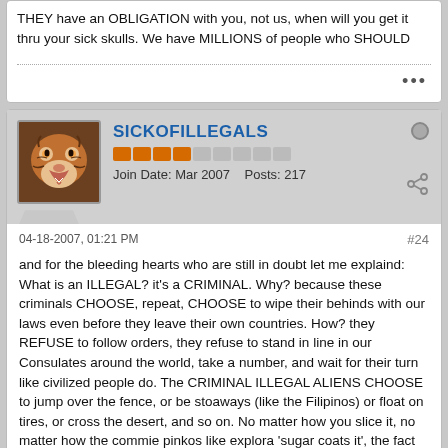THEY have an OBLIGATION with you, not us, when will you get it thru your sick skulls. We have MILLIONS of people who SHOULD
SICKOFILLEGALS
Join Date: Mar 2007   Posts: 217
04-18-2007, 01:21 PM
#24
and for the bleeding hearts who are still in doubt let me explaind: What is an ILLEGAL? it's a CRIMINAL. Why? because these criminals CHOOSE, repeat, CHOOSE to wipe their behinds with our laws even before they leave their own countries. How? they REFUSE to follow orders, they refuse to stand in line in our Consulates around the world, take a number, and wait for their turn like civilized people do. The CRIMINAL ILLEGAL ALIENS CHOOSE to jump over the fence, or be stoaways (like the Filipinos) or float on tires, or cross the desert, and so on. No matter how you slice it, no matter how the commie pinkos like explora 'sugar coats it', the fact remains the same ILLEGALS ARE CRIMINALS AND SHOULD ALL BE REPORTED AND DEPORTED. MASSIVE DEPORTATIONS TODAY!!! SEAL THE BORDERS TODAY!!!